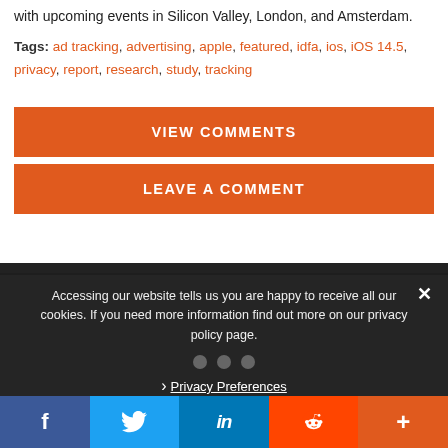with upcoming events in Silicon Valley, London, and Amsterdam.
Tags: ad tracking, advertising, apple, featured, idfa, ios, iOS 14.5, privacy, report, research, study, tracking
VIEW COMMENTS
LEAVE A COMMENT
Accessing our website tells us you are happy to receive all our cookies. If you need more information find out more on our privacy policy page.
Privacy Preferences
f  Twitter  in  Reddit  +